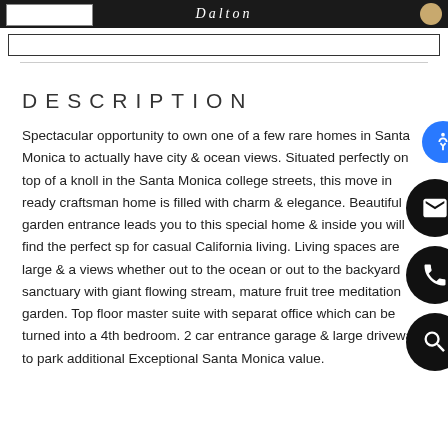Dalton
DESCRIPTION
Spectacular opportunity to own one of a few rare homes in Santa Monica to actually have city & ocean views. Situated perfectly on top of a knoll in the Santa Monica college streets, this move in ready craftsman home is filled with charm & elegance. Beautiful garden entrance leads you to this special home & inside you will find the perfect sp for casual California living. Living spaces are large & a views whether out to the ocean or out to the backyard sanctuary with giant flowing stream, mature fruit tree meditation garden. Top floor master suite with separat office which can be turned into a 4th bedroom. 2 car entrance garage & large driveway to park additional Exceptional Santa Monica value.